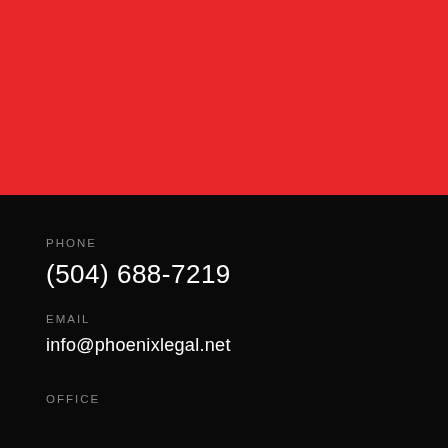[Figure (other): Red banner block occupying the top portion of the page]
PHONE
(504) 688-7219
EMAIL
info@phoenixlegal.net
OFFICE